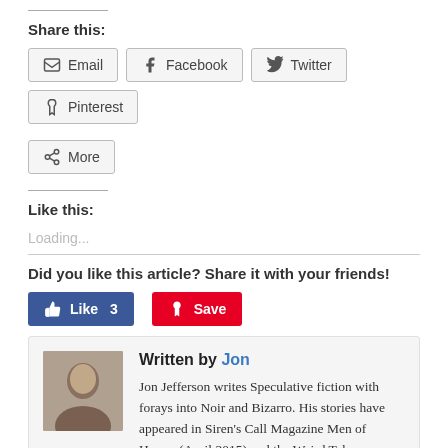Share this:
Email | Facebook | Twitter | Pinterest
More
Like this:
Loading...
Did you like this article? Share it with your friends!
Like 3 | Save
Written by Jon
Jon Jefferson writes Speculative fiction with forays into Noir and Bizarro. His stories have appeared in Siren's Call Magazine Men of Horror (April 2015) and the Weird Tales Website. His work can also be found on